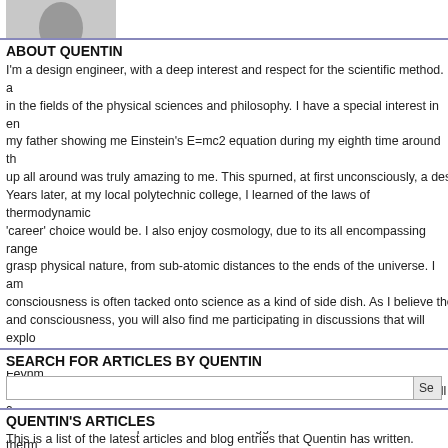[Figure (photo): Profile photo of Quentin, a person shown from the shoulders up]
ABOUT QUENTIN
I'm a design engineer, with a deep interest and respect for the scientific method. I am interested in the fields of the physical sciences and philosophy. I have a special interest in energy, it was my father showing me Einstein's E=mc2 equation during my eighth time around the sun, the idea that energy up all around was truly amazing to me. This spurned, at first unconsciously, a desire to understand energy. Years later, at my local polytechnic college, I learned of the laws of thermodynamics which settled what my 'career' choice would be. I also enjoy cosmology, due to its all encompassing range and its attempt to grasp physical nature, from sub-atomic distances to the ends of the universe. I am also frustrated that consciousness is often tacked onto science as a kind of side dish. As I believe there is a link between energy and consciousness, you will also find me participating in discussions that will explore these intriguing ideas into exciting new versions. Particular scientists who inspire me are Richard Feynman, Lee Smolin, Max Tegmark and Nicola Tesla (not quite a scientist, more a man of action). I will also be promoting a friends book who I helped edit. His ideas suggest extensions to the laws of thermodynamics and the order that derive from these laws. It can be found at www.everythingforever.com
SEARCH FOR ARTICLES BY QUENTIN
QUENTIN'S ARTICLES
This is a list of the latest articles and blog entries that Quentin has written.